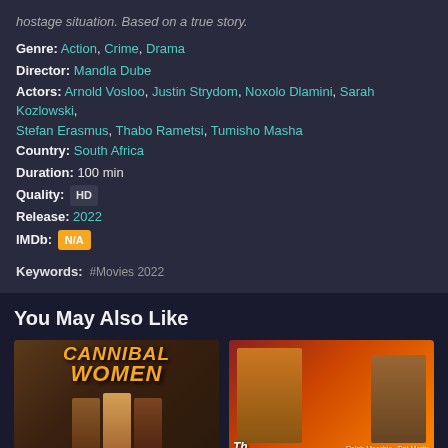hostage situation. Based on a true story.
Genre: Action, Crime, Drama
Director: Mandla Dube
Actors: Arnold Vosloo, Justin Strydom, Noxolo Dlamini, Sarah Kozlowski, Stefan Erasmus, Thabo Rametsi, Tumisho Masha
Country: South Africa
Duration: 100 min
Quality: HD
Release: 2022
IMDb: N/A
Keywords: #Movies 2022
You May Also Like
[Figure (photo): Movie poster for Cannibal Women showing title text and three women figures]
[Figure (photo): Movie poster featuring Ralph Macchio and Pat Morita, likely The Karate Kid]